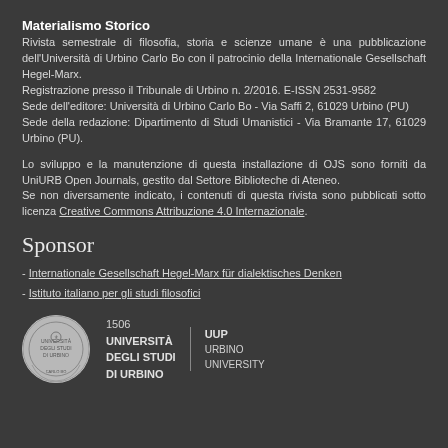Materialismo Storico
Rivista semestrale di filosofia, storia e scienze umane è una pubblicazione dell'Università di Urbino Carlo Bo con il patrocinio della Internationale Gesellschaft Hegel-Marx.
Registrazione presso il Tribunale di Urbino n. 2/2016. E-ISSN 2531-9582
Sede dell'editore: Università di Urbino Carlo Bo - Via Saffi 2, 61029 Urbino (PU)
Sede della redazione: Dipartimento di Studi Umanistici - Via Bramante 17, 61029 Urbino (PU).
Lo sviluppo e la manutenzione di questa installazione di OJS sono forniti da UniURB Open Journals, gestito dal Settore Biblioteche di Ateneo.
Se non diversamente indicato, i contenuti di questa rivista sono pubblicati sotto licenza Creative Commons Attribuzione 4.0 Internazionale.
Sponsor
- Internationale Gesellschaft Hegel-Marx für dialektisches Denken
- Istituto italiano per gli studi filosofici
[Figure (logo): University of Urbino logo: circular emblem with university seal on the left, followed by '1506 UNIVERSITÀ DEGLI STUDI DI URBINO' text, a vertical divider, and 'UUP URBINO UNIVERSITY PRESS' text on the right.]